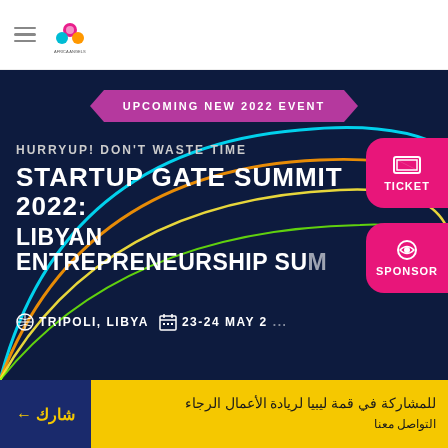Navigation header with hamburger menu and logo
[Figure (infographic): Event promotional banner for Startup Gate Summit 2022 with dark navy background, curved neon arc lines in cyan, orange, yellow and green, ribbon banner, event title, location and date info, ticket and sponsor buttons]
UPCOMING NEW 2022 EVENT
HURRYUP! DON'T WASTE TIME
STARTUP GATE SUMMIT 2022:
LIBYAN ENTREPRENEURSHIP SU...
TRIPOLI, LIBYA   23-24 MAY 2...
للمشاركة في قمة ليبيا لريادة الأعمال الرجاء